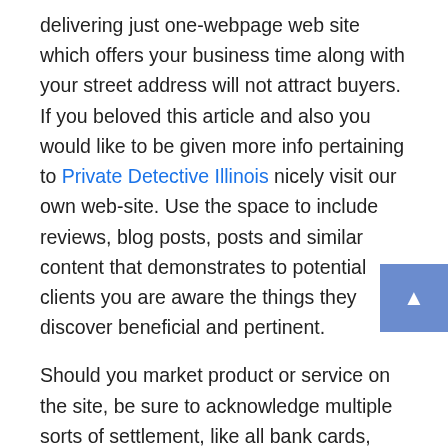delivering just one-webpage web site which offers your business time along with your street address will not attract buyers. If you beloved this article and also you would like to be given more info pertaining to Private Detective Illinois nicely visit our own web-site. Use the space to include reviews, blog posts, posts and similar content that demonstrates to potential clients you are aware the things they discover beneficial and pertinent.
Should you market product or service on the site, be sure to acknowledge multiple sorts of settlement, like all bank cards, Paypal and even checks. Presenting the charge card and Paypal trademarks on your own web site can raise revenue, just because a customer recognizes that the look at method is dependable and uncomplicated.
When trying to market your small business and web site, the most successful sites are those which are professionals from the field. Turn out to be an authority